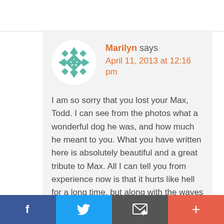[Figure (logo): Circular avatar with teal geometric cross/star pattern on white background]
Marilyn says
April 11, 2013 at 12:16 pm
I am so sorry that you lost your Max, Todd. I can see from the photos what a wonderful dog he was, and how much he meant to you. What you have written here is absolutely beautiful and a great tribute to Max. All I can tell you from experience now is that it hurts like hell for a long time, but along with the waves of grief there is such a feeling of gratitude that you had